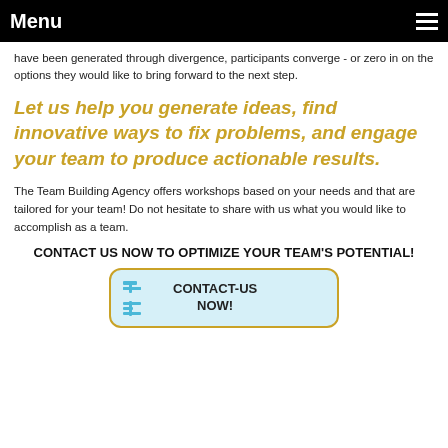Menu
have been generated through divergence, participants converge - or zero in on the options they would like to bring forward to the next step.
Let us help you generate ideas, find innovative ways to fix problems, and engage your team to produce actionable results.
The Team Building Agency offers workshops based on your needs and that are tailored for your team! Do not hesitate to share with us what you would like to accomplish as a team.
CONTACT US NOW TO OPTIMIZE YOUR TEAM'S POTENTIAL!
[Figure (logo): Contact-Us Now button with Team Building Agency logo (TBA grid icon) on blue background with gold border]